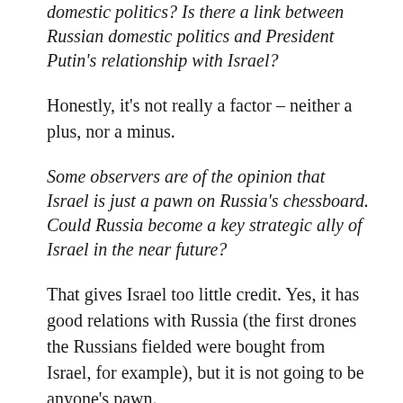domestic politics? Is there a link between Russian domestic politics and President Putin's relationship with Israel?
Honestly, it's not really a factor – neither a plus, nor a minus.
Some observers are of the opinion that Israel is just a pawn on Russia's chessboard. Could Russia become a key strategic ally of Israel in the near future?
That gives Israel too little credit. Yes, it has good relations with Russia (the first drones the Russians fielded were bought from Israel, for example), but it is not going to be anyone's pawn.